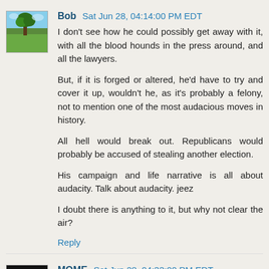[Figure (photo): User avatar for Bob — landscape photo with tree and blue sky]
Bob Sat Jun 28, 04:14:00 PM EDT
I don't see how he could possibly get away with it, with all the blood hounds in the press around, and all the lawyers.

But, if it is forged or altered, he'd have to try and cover it up, wouldn't he, as it's probably a felony, not to mention one of the most audacious moves in history.

All hell would break out. Republicans would probably be accused of stealing another election.

His campaign and life narrative is all about audacity. Talk about audacity. jeez

I doubt there is anything to it, but why not clear the air?
Reply
[Figure (photo): User avatar for MOME — person with sunglasses on dark background]
MOME Sat Jun 28, 04:33:00 PM EDT
Think Gary Hart. Smug, blinded, and drunk on the power...